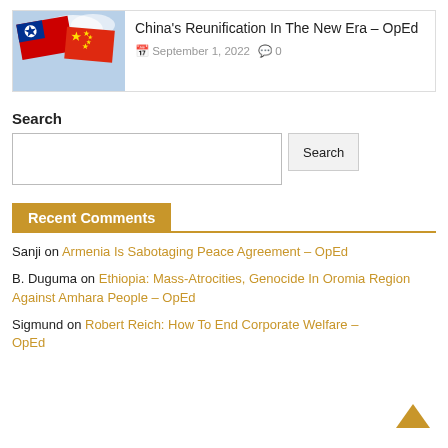[Figure (photo): Photo of Taiwan flag and China flag against a sky background]
China's Reunification In The New Era – OpEd
September 1, 2022   0
Search
Recent Comments
Sanji on Armenia Is Sabotaging Peace Agreement – OpEd
B. Duguma on Ethiopia: Mass-Atrocities, Genocide In Oromia Region Against Amhara People – OpEd
Sigmund on Robert Reich: How To End Corporate Welfare – OpEd